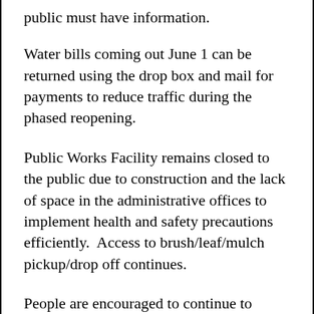public must have information.
Water bills coming out June 1 can be returned using the drop box and mail for payments to reduce traffic during the phased reopening.
Public Works Facility remains closed to the public due to construction and the lack of space in the administrative offices to implement health and safety precautions efficiently.  Access to brush/leaf/mulch pickup/drop off continues.
People are encouraged to continue to submit codes department applications via email.  The